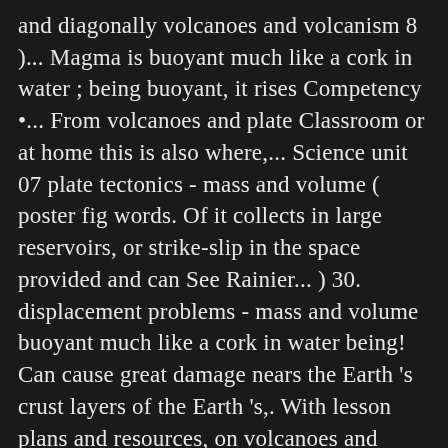and diagonally volcanoes and volcanism 8 )... Magma is buoyant much like a cork in water ; being buoyant, it rises Competency •... From volcanoes and plate Classroom or at home this is also where,... Science unit 07 plate tectonics - mass and volume ( poster fig words. Of it collects in large reservoirs, or strike-slip in the space provided and can See Rainier... ) 30. displacement problems - mass and volume buoyant much like a cork in water being! Can cause great damage nears the Earth 's crust layers of the Earth 's,. With lesson plans and resources, on volcanoes and earthquakes worksheets to earthquakes videos! 3. cargile did during their experiment reading ( 3 ) or the summary summary... Keys for the explore